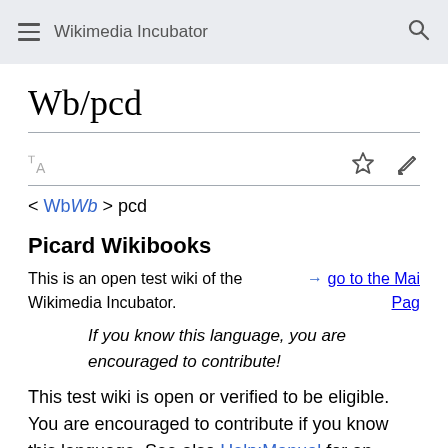Wikimedia Incubator
Wb/pcd
< WbWb > pcd
Picard Wikibooks
This is an open test wiki of the Wikimedia Incubator.
→ go to the Main Page
If you know this language, you are encouraged to contribute!
This test wiki is open or verified to be eligible. You are encouraged to contribute if you know this language. See also Help:Manual for an explanation about what you need